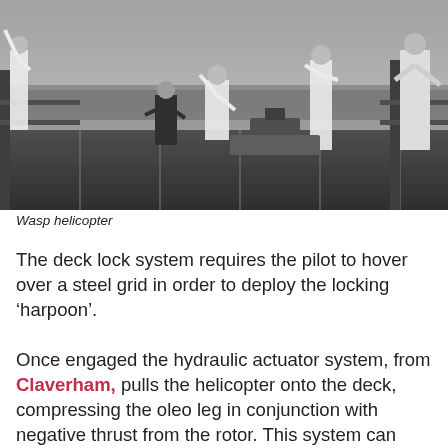[Figure (photo): Black and white photograph of crew members on the deck of a naval ship with a Wasp helicopter. Several people in white uniforms are visible on deck, with the sea in the background.]
Wasp helicopter
The deck lock system requires the pilot to hover over a steel grid in order to deploy the locking ‘harpoon’.
Once engaged the hydraulic actuator system, from Claverham, pulls the helicopter onto the deck, compressing the oleo leg in conjunction with negative thrust from the rotor. This system can secure the helicopter to the deck without needing any personnel to approach it, an